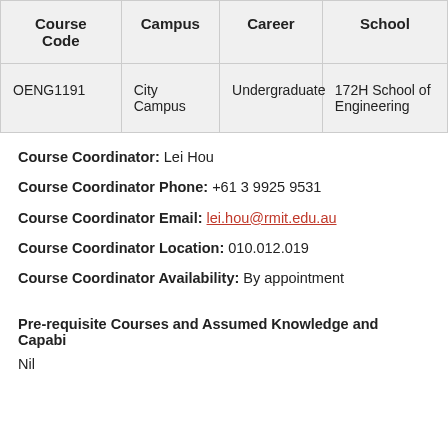| Course Code | Campus | Career | School |
| --- | --- | --- | --- |
| OENG1191 | City Campus | Undergraduate | 172H School of Engineering |
Course Coordinator: Lei Hou
Course Coordinator Phone: +61 3 9925 9531
Course Coordinator Email: lei.hou@rmit.edu.au
Course Coordinator Location: 010.012.019
Course Coordinator Availability: By appointment
Pre-requisite Courses and Assumed Knowledge and Capabi...
Nil